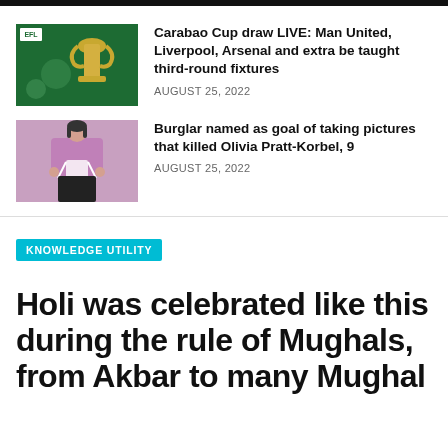[Figure (photo): Carabao Cup trophy on green background with EFL logo]
Carabao Cup draw LIVE: Man United, Liverpool, Arsenal and extra be taught third-round fixtures
AUGUST 25, 2022
[Figure (photo): Young girl in purple top and white apron, hands behind back]
Burglar named as goal of taking pictures that killed Olivia Pratt-Korbel, 9
AUGUST 25, 2022
KNOWLEDGE UTILITY
Holi was celebrated like this during the rule of Mughals, from Akbar to many Mughal